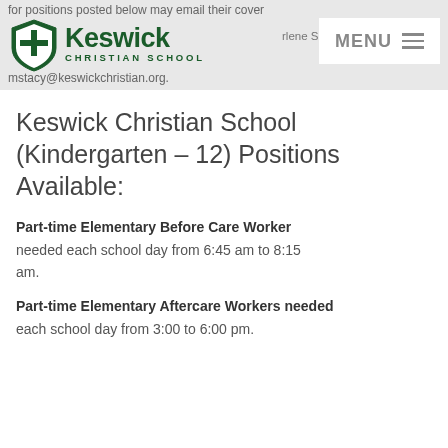for positions posted below may email their cover Arlene S mstacy@keswickchristian.org.
Keswick Christian School (Kindergarten – 12) Positions Available:
Part-time Elementary Before Care Worker
needed each school day from 6:45 am to 8:15 am.
Part-time Elementary Aftercare Workers
needed each school day from 3:00 to 6:00 pm.